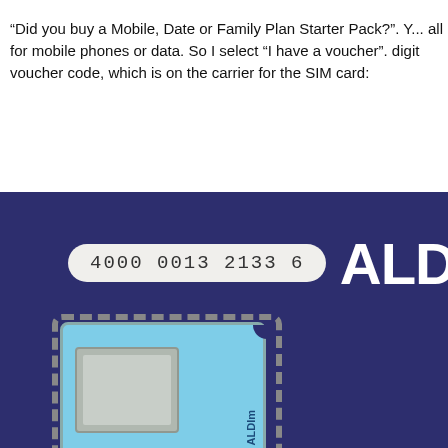“Did you buy a Mobile, Date or Family Plan Starter Pack?”. Y... all for mobile phones or data. So I select “I have a voucher”. digit voucher code, which is on the carrier for the SIM card:
[Figure (photo): Photo of an ALDI mobile SIM card carrier/packaging. The dark navy/purple background shows a printed voucher code label reading '4000 0013 2133 6' in a rounded rectangle, and the large white bold text 'ALD' visible on the right. Below is a light blue SIM card tray with a chip area and 'ALDIm' text, surrounded by a perforated border.]